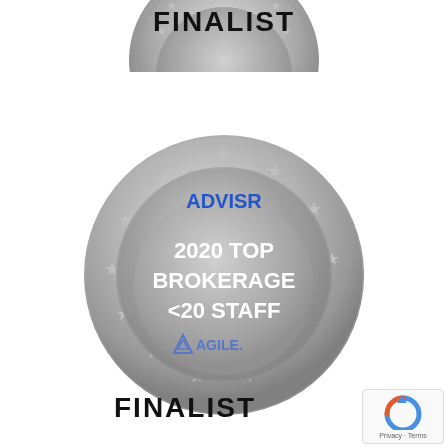[Figure (logo): Partial silver medal badge (cropped at top) with FINALIST text, Advisr branding — top portion only visible]
FINALIST
[Figure (logo): Silver medal badge with ADVISR in blue text at top, circle of embossed stars around border, inner circle reading '2020 TOP BROKERAGE <20 STAFF' in white bold text, with Agile logo at bottom]
FINALIST